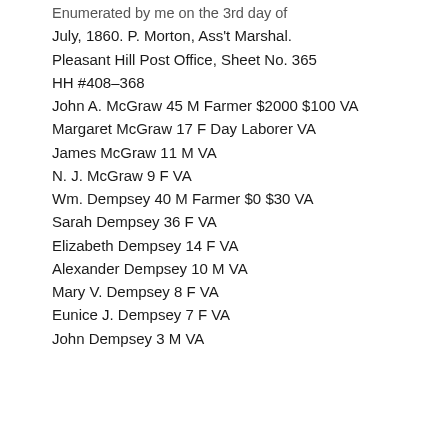Enumerated by me on the 3rd day of
July, 1860. P. Morton, Ass't Marshal.
Pleasant Hill Post Office, Sheet No. 365
HH #408-368
John A. McGraw 45 M Farmer $2000 $100 VA
Margaret McGraw 17 F Day Laborer VA
James McGraw 11 M VA
N. J. McGraw 9 F VA
Wm. Dempsey 40 M Farmer $0 $30 VA
Sarah Dempsey 36 F VA
Elizabeth Dempsey 14 F VA
Alexander Dempsey 10 M VA
Mary V. Dempsey 8 F VA
Eunice J. Dempsey 7 F VA
John Dempsey 3 M VA